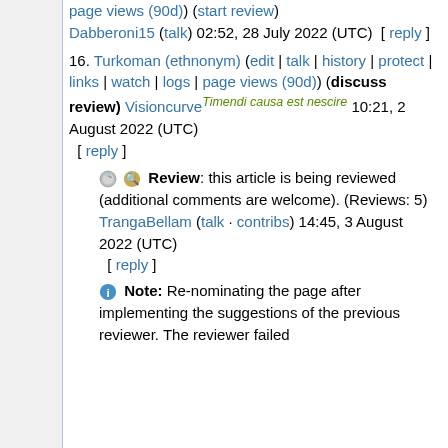page views (90d) (start review) Dabberoni15 (talk) 02:52, 28 July 2022 (UTC) [ reply ]
16. Turkoman (ethnonym) (edit | talk | history | protect | links | watch | logs | page views (90d)) (discuss review) Visioncurve Timendi causa est nescire 10:21, 2 August 2022 (UTC) [ reply ]
🔍 Review: this article is being reviewed (additional comments are welcome). (Reviews: 5) TrangaBellam (talk · contribs) 14:45, 3 August 2022 (UTC) [ reply ]
ℹ Note: Re-nominating the page after implementing the suggestions of the previous reviewer. The reviewer failed